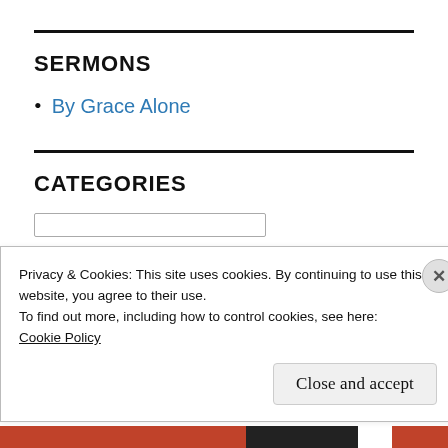SERMONS
By Grace Alone
CATEGORIES
Privacy & Cookies: This site uses cookies. By continuing to use this website, you agree to their use.
To find out more, including how to control cookies, see here:
Cookie Policy
Close and accept